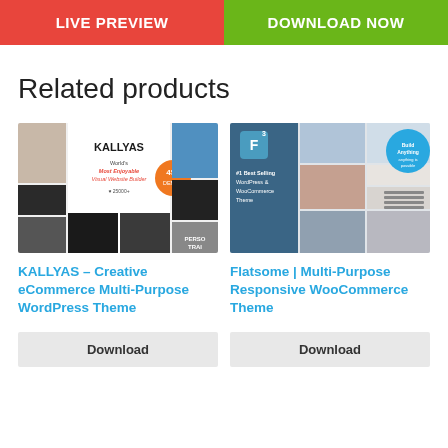[Figure (screenshot): Two buttons side by side: red 'LIVE PREVIEW' button and green 'DOWNLOAD NOW' button]
Related products
[Figure (screenshot): KALLYAS theme product thumbnail showing website builder collage with '45+ DEMOS' badge, KALLYAS logo, 'World's Most Enjoyable Visual Website Builder', '25000+' and various lifestyle photos]
[Figure (screenshot): Flatsome theme product thumbnail showing '#1 Best Selling WordPress & WooCommerce Theme' with collage of website screenshots and 'Build Anything' badge]
KALLYAS – Creative eCommerce Multi-Purpose WordPress Theme
Flatsome | Multi-Purpose Responsive WooCommerce Theme
[Figure (screenshot): Download button for KALLYAS]
[Figure (screenshot): Download button for Flatsome]